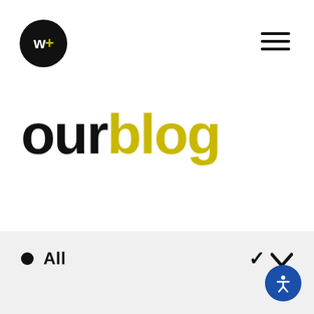[Figure (logo): Black circular logo with white text 'w+' where the plus sign is yellow]
[Figure (other): Hamburger menu icon with three horizontal black lines]
our blog
● All
[Figure (other): Blue circular accessibility icon with white person/wheelchair symbol]